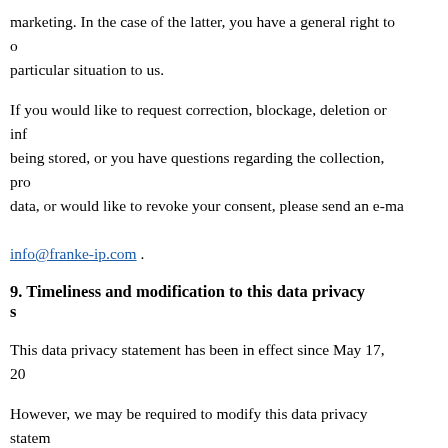marketing. In the case of the latter, you have a general right to object, by communicating the particular situation to us.
If you would like to request correction, blockage, deletion or information about the personal data being stored, or you have questions regarding the collection, processing or use of your personal data, or would like to revoke your consent, please send an e-mail to info@franke-ip.com .
9. Timeliness and modification to this data privacy statement
This data privacy statement has been in effect since May 17, 2018.
However, we may be required to modify this data privacy statement due to further development of our website and offers and/or due to changed legal and/or regulatory requirements. You can view and print out the current data privacy statement at all times on this website at https://www.franke-ip.com/en/privacy/.
10. Legal questions